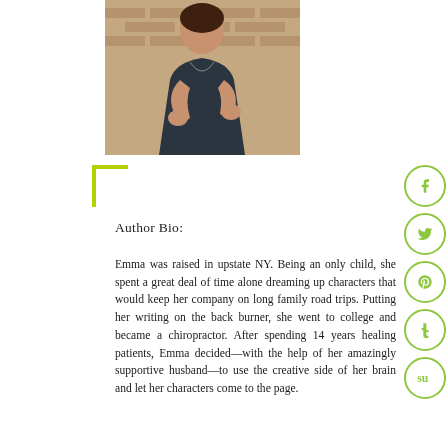[Figure (photo): Author photo: a woman with dark hair leaning against a brick wall, wearing a dark sleeveless dress, posing with hands raised slightly]
Author Bio:
Emma was raised in upstate NY. Being an only child, she spent a great deal of time alone dreaming up characters that would keep her company on long family road trips. Putting her writing on the back burner, she went to college and became a chiropractor. After spending 14 years healing patients, Emma decided—with the help of her amazingly supportive husband—to use the creative side of her brain and let her characters come to the page.